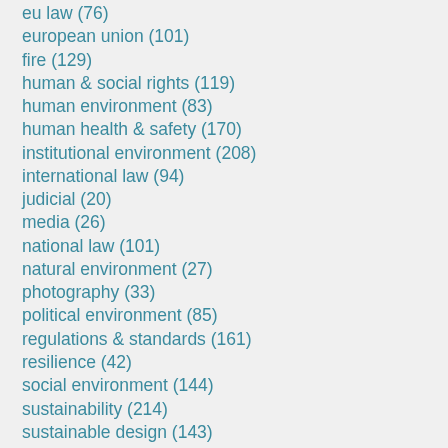eu law (76)
european union (101)
fire (129)
human & social rights (119)
human environment (83)
human health & safety (170)
institutional environment (208)
international law (94)
judicial (20)
media (26)
national law (101)
natural environment (27)
photography (33)
political environment (85)
regulations & standards (161)
resilience (42)
social environment (144)
sustainability (214)
sustainable design (143)
technical control (146)
travel (25)
uncategorized (3)